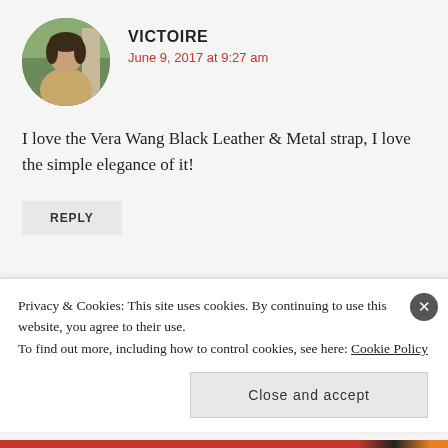VICTOIRE
June 9, 2017 at 9:27 am
I love the Vera Wang Black Leather & Metal strap, I love the simple elegance of it!
REPLY
ADRIAN V
Privacy & Cookies: This site uses cookies. By continuing to use this website, you agree to their use.
To find out more, including how to control cookies, see here: Cookie Policy
Close and accept